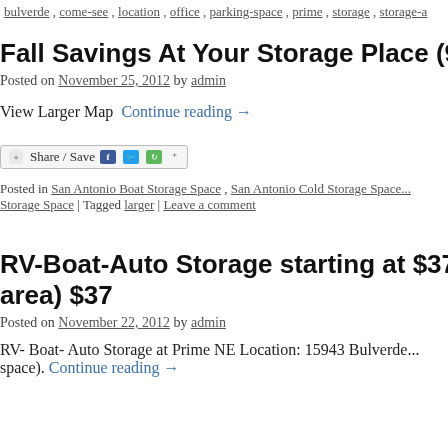bulverde, come-see, location, office, parking-space, prime, storage, storage-a
Fall Savings At Your Storage Place (9423...
Posted on November 25, 2012 by admin
View Larger Map Continue reading →
[Figure (other): Share / Save social sharing button with Facebook, Twitter, and other icons]
Posted in San Antonio Boat Storage Space, San Antonio Cold Storage Space... Storage Space | Tagged larger | Leave a comment
RV-Boat-Auto Storage starting at $37 (l60 area) $37
Posted on November 22, 2012 by admin
RV- Boat- Auto Storage at Prime NE Location: 15943 Bulverde... space). Continue reading →